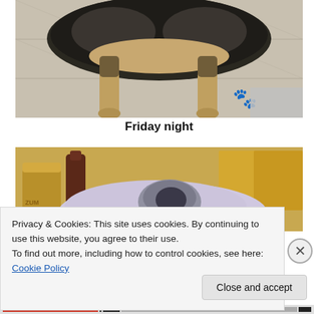[Figure (photo): Photo of a dog's legs and underbody standing on a tiled floor, with a paw print icon and a gray rectangle overlay in the lower right corner]
Friday night
[Figure (photo): Photo of a cat or small animal wrapped in a light purple towel on a countertop, with a gold jar, dark bottle, and cardboard box visible in the background]
Privacy & Cookies: This site uses cookies. By continuing to use this website, you agree to their use.
To find out more, including how to control cookies, see here: Cookie Policy
Close and accept